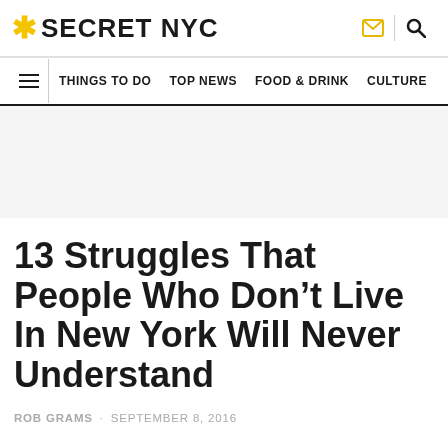* SECRET NYC
THINGS TO DO · TOP NEWS · FOOD & DRINK · CULTURE
[Figure (other): Gray advertisement banner placeholder area]
13 Struggles That People Who Don't Live In New York Will Never Understand
ROB GRAMS · SEPTEMBER 8, 2016